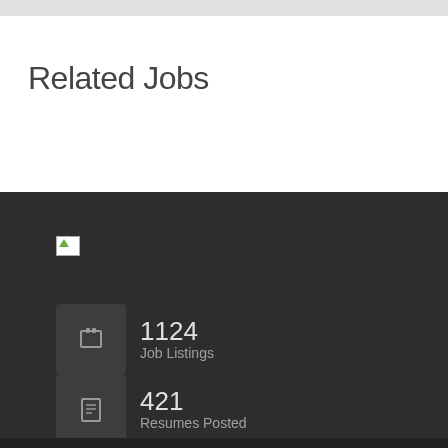Related Jobs
[Figure (logo): Small logo image placeholder in dark footer area]
1124
Job Listings
421
Resumes Posted